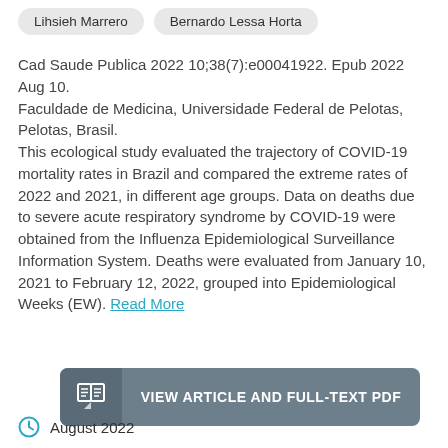Lihsieh Marrero
Bernardo Lessa Horta
Cad Saude Publica 2022 10;38(7):e00041922. Epub 2022 Aug 10.
Faculdade de Medicina, Universidade Federal de Pelotas, Pelotas, Brasil.
This ecological study evaluated the trajectory of COVID-19 mortality rates in Brazil and compared the extreme rates of 2022 and 2021, in different age groups. Data on deaths due to severe acute respiratory syndrome by COVID-19 were obtained from the Influenza Epidemiological Surveillance Information System. Deaths were evaluated from January 10, 2021 to February 12, 2022, grouped into Epidemiological Weeks (EW). Read More
[Figure (other): Button: VIEW ARTICLE AND FULL-TEXT PDF with book/document icon on left dark panel]
August 2022